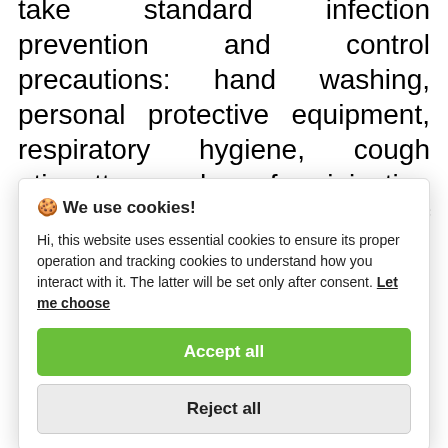take standard infection prevention and control precautions: hand washing, personal protective equipment, respiratory hygiene, cough etiquette and safe injection practices The message is that of awareness and preparedness, but
[Figure (screenshot): Cookie consent modal dialog with title '🍪 We use cookies!', body text explaining essential and tracking cookies, a 'Let me choose' underlined link, a green 'Accept all' button, and a gray 'Reject all' button.]
contact. It is not easily spread as SARS-